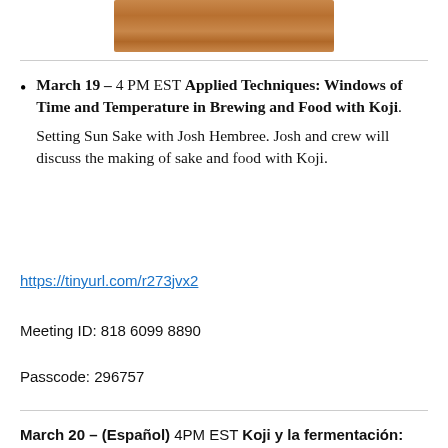[Figure (photo): Wooden surface/board image at top of page]
March 19 – 4 PM EST Applied Techniques: Windows of Time and Temperature in Brewing and Food with Koji. Setting Sun Sake with Josh Hembree. Josh and crew will discuss the making of sake and food with Koji.
https://tinyurl.com/r273jvx2
Meeting ID: 818 6099 8890
Passcode: 296757
March 20 – (Español) 4PM EST Koji y la fermentación: Salsa